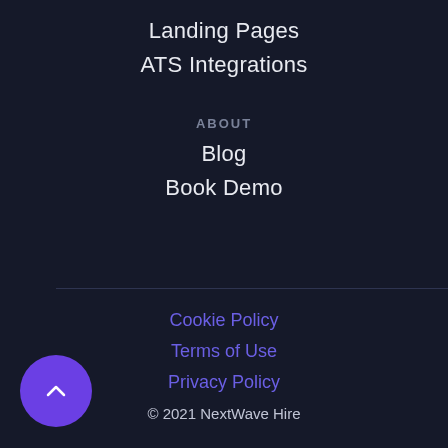Landing Pages
ATS Integrations
ABOUT
Blog
Book Demo
Cookie Policy
Terms of Use
Privacy Policy
© 2021 NextWave Hire